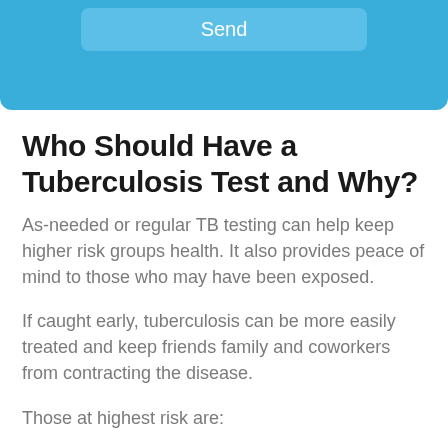[Figure (screenshot): Blue banner with a Send button rendered as a rounded rectangle in lighter blue]
Who Should Have a Tuberculosis Test and Why?
As-needed or regular TB testing can help keep higher risk groups health. It also provides peace of mind to those who may have been exposed.
If caught early, tuberculosis can be more easily treated and keep friends family and coworkers from contracting the disease.
Those at highest risk are: